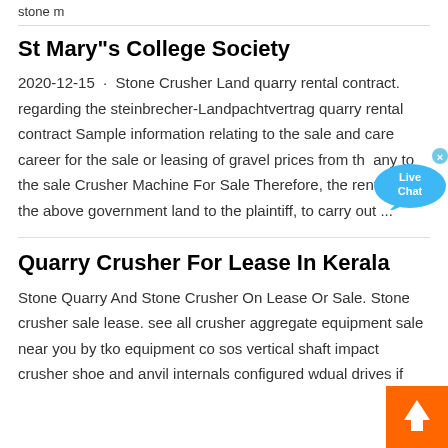stone m
St Mary"s College Society
2020-12-15 · Stone Crusher Land quarry rental contract. regarding the steinbrecher-Landpachtvertrag quarry rental contract Sample information relating to the sale and care career for the sale or leasing of gravel prices from th any to the sale Crusher Machine For Sale Therefore, the rental of the above government land to the plaintiff, to carry out ...
Quarry Crusher For Lease In Kerala
Stone Quarry And Stone Crusher On Lease Or Sale. Stone crusher sale lease. see all crusher aggregate equipment sale near you by tko equipment co sos vertical shaft impact crusher shoe and anvil internals configured wdual drives if